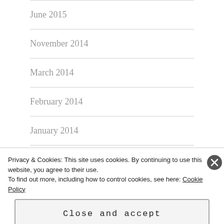June 2015
November 2014
March 2014
February 2014
January 2014
July 2013
June 2013
Privacy & Cookies: This site uses cookies. By continuing to use this website, you agree to their use.
To find out more, including how to control cookies, see here: Cookie Policy
Close and accept